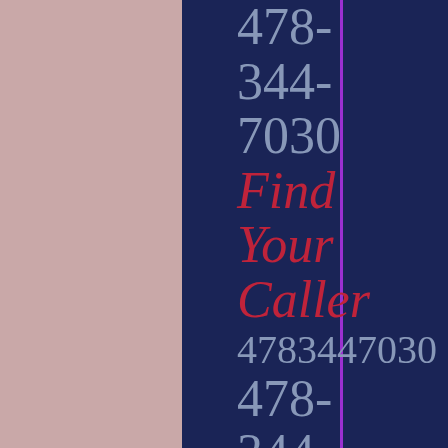478-
344-
7030
Find
Your
Caller
4783447030
478-
344-
7084
Find
Your
Caller
4783447084
478-
344-
7067